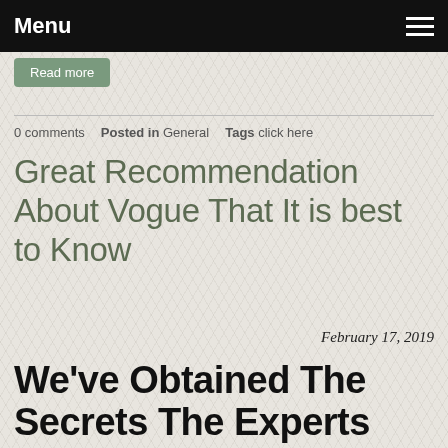Menu
Read more
0 comments   Posted in General   Tags click here
Great Recommendation About Vogue That It is best to Know
February 17, 2019
We've Obtained The Secrets The Experts Will not Let you know About